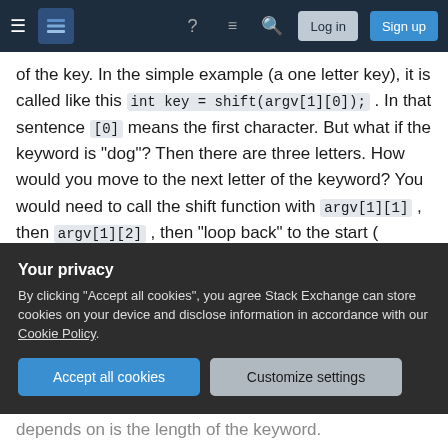[Figure (screenshot): Stack Exchange navigation bar with hamburger menu, logo, help icon, chat icon, search icon, Log in and Sign up buttons]
of the key. In the simple example (a one letter key), it is called like this int key = shift(argv[1][0]); . In that sentence [0] means the first character. But what if the keyword is "dog"? Then there are three letters. How would you move to the next letter of the keyword? You would need to call the shift function with argv[1][1] , then argv[1][2] , then "loop back" to the start ( argv[1][0] ).
The "second counter" is a variable that keeps track of which character to use in the keyword. Since where you are in the plaintext ( i, for instance) is not
[Figure (screenshot): Privacy consent overlay with 'Your privacy' title, cookie policy text, Accept all cookies button and Customize settings button]
depends on is the length of the keyword.